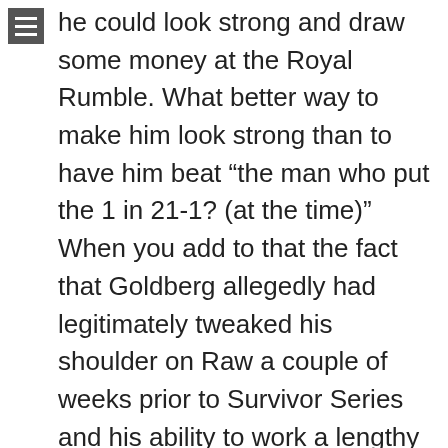he could look strong and draw some money at the Royal Rumble. What better way to make him look strong than to have him beat “the man who put the 1 in 21-1? (at the time)” When you add to that the fact that Goldberg allegedly had legitimately tweaked his shoulder on Raw a couple of weeks prior to Survivor Series and his ability to work a lengthy match was in question, and the result makes even more sense.
To those that say Lesnar getting beaten that quickly would ruin his character and cause his reputation as a total badass to evaporate